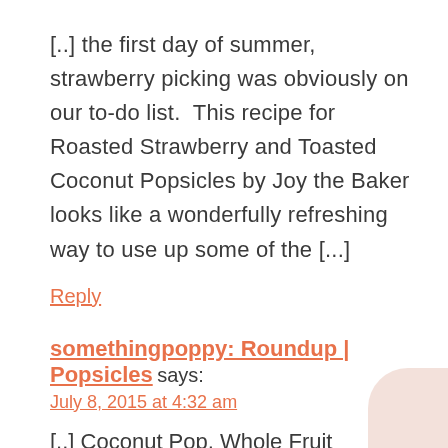[..] the first day of summer, strawberry picking was obviously on our to-do list.  This recipe for Roasted Strawberry and Toasted Coconut Popsicles by Joy the Baker looks like a wonderfully refreshing way to use up some of the [...]
Reply
somethingpoppy: Roundup | Popsicles says:
July 8, 2015 at 4:32 am
[..] Coconut Pop, Whole Fruit Popsicles, Bourbon Peaches and Cream Popsicles, Earl Grey Latte Pops, Roasted Strawberry and